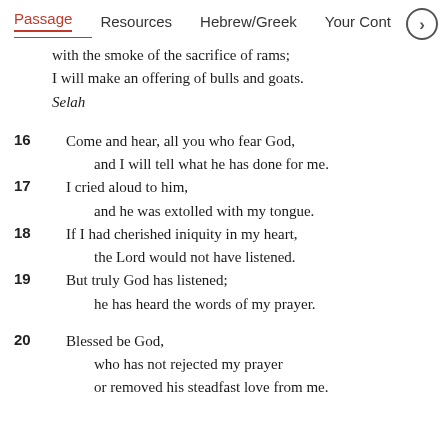Passage   Resources   Hebrew/Greek   Your Cont›
with the smoke of the sacrifice of rams;
I will make an offering of bulls and goats.
Selah
16  Come and hear, all you who fear God,
    and I will tell what he has done for me.
17  I cried aloud to him,
    and he was extolled with my tongue.
18  If I had cherished iniquity in my heart,
    the Lord would not have listened.
19  But truly God has listened;
    he has heard the words of my prayer.
20  Blessed be God,
    who has not rejected my prayer
    or removed his steadfast love from me.